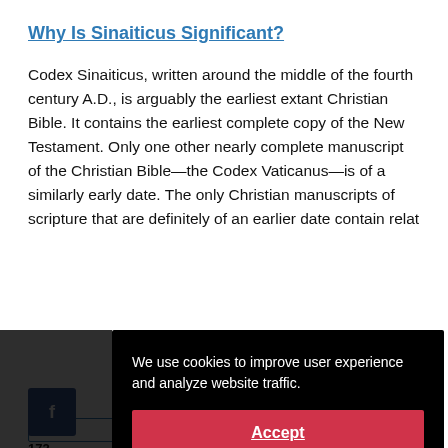Why Is Sinaiticus Significant?
Codex Sinaiticus, written around the middle of the fourth century A.D., is arguably the earliest extant Christian Bible. It contains the earliest complete copy of the New Testament. Only one other nearly complete manuscript of the Christian Bible—the Codex Vaticanus—is of a similarly early date. The only Christian manuscripts of scripture that are definitely of an earlier date contain relat…
[Figure (screenshot): Cookie consent overlay on black background with text: 'We use cookies to improve user experience and analyze website traffic.' and a red Accept button. Also shows partial Facebook share button with count '172' and 'Tags' label.]